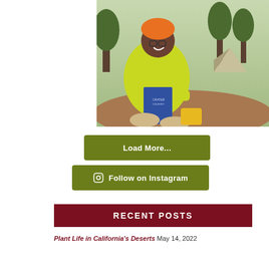[Figure (photo): A person wearing an orange beanie and bright yellow puffer jacket, sitting outdoors at a campsite holding a book, smiling broadly. A tent is visible in the background among pine trees.]
Load More...
Follow on Instagram
RECENT POSTS
Plant Life in California's Deserts May 14, 2022